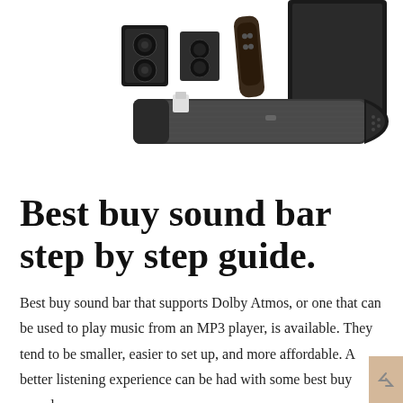[Figure (photo): Photo of a home theater sound bar system with multiple speakers, subwoofer, and a long cylindrical sound bar unit displayed on a white background.]
Best buy sound bar step by step guide.
Best buy sound bar that supports Dolby Atmos, or one that can be used to play music from an MP3 player, is available. They tend to be smaller, easier to set up, and more affordable. A better listening experience can be had with some best buy sound